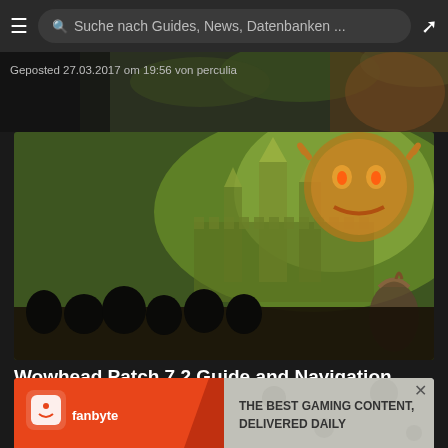Suche nach Guides, News, Datenbanken ...
Geposted 27.03.2017 om 19:56 von perculia
[Figure (screenshot): World of Warcraft game artwork showing Illidan Stormrage demon hunter with red bat wings, glowing green weapons, with a large demonic face and city towers in the background with green fog]
Wowhead Patch 7.2 Guide and Navigation Menu Updates
[Figure (other): Fanbyte advertisement banner: red-orange left panel with Fanbyte logo, right side says 'THE BEST GAMING CONTENT, DELIVERED DAILY']